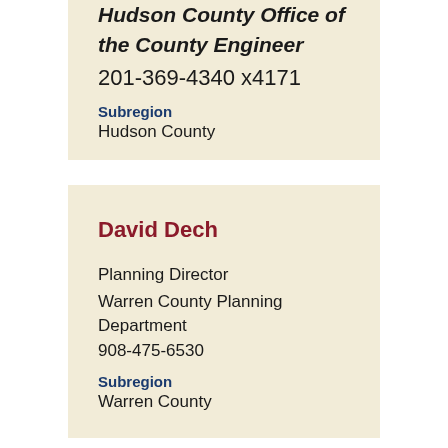Hudson County Office of the County Engineer
201-369-4340 x4171
Subregion
Hudson County
David Dech
Planning Director
Warren County Planning Department
908-475-6530
Subregion
Warren County
Andras Holzmann